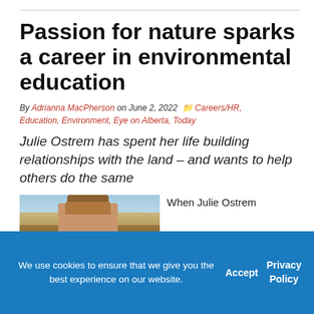Passion for nature sparks a career in environmental education
By Adrianna MacPherson on June 2, 2022  Careers/HR, Education, Environment, Eye on Alberta, Today
Julie Ostrem has spent her life building relationships with the land – and wants to help others do the same
[Figure (photo): Photo of Julie Ostrem wearing a hat outdoors with mountains and a pale blue sky in the background]
When Julie Ostrem
We use cookies to ensure that we give you the best experience on our website.  Accept  Privacy Policy